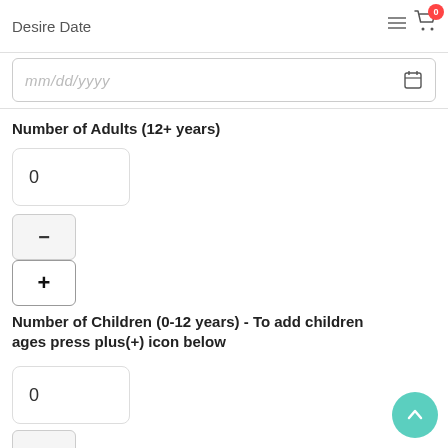Desire Date
[Figure (screenshot): Date input field with placeholder mm/dd/yyyy and a calendar icon on the right]
Number of Adults (12+ years)
[Figure (screenshot): Input box showing value 0 for number of adults]
[Figure (screenshot): Minus (-) button for adults count]
[Figure (screenshot): Plus (+) button for adults count]
Number of Children (0-12 years) - To add children ages press plus(+) icon below
[Figure (screenshot): Input box showing value 0 for number of children]
[Figure (screenshot): Minus (-) button for children count]
[Figure (screenshot): Plus (+) button for children count]
Your Message